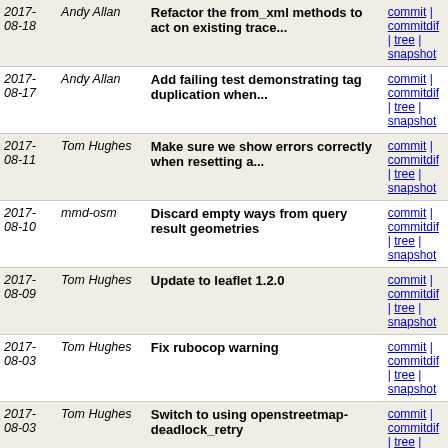| Date | Author | Message | Links |
| --- | --- | --- | --- |
| 2017-08-18 | Andy Allan | Refactor the from_xml methods to act on existing trace... | commit | commitdif | tree | snapshot |
| 2017-08-17 | Andy Allan | Add failing test demonstrating tag duplication when... | commit | commitdif | tree | snapshot |
| 2017-08-11 | Tom Hughes | Make sure we show errors correctly when resetting a... | commit | commitdif | tree | snapshot |
| 2017-08-10 | mmd-osm | Discard empty ways from query result geometries | commit | commitdif | tree | snapshot |
| 2017-08-09 | Tom Hughes | Update to leaflet 1.2.0 | commit | commitdif | tree | snapshot |
| 2017-08-03 | Tom Hughes | Fix rubocop warning | commit | commitdif | tree | snapshot |
| 2017-08-03 | Tom Hughes | Switch to using openstreetmap-deadlock_retry | commit | commitdif | tree | snapshot |
| 2017-08-02 | Tom Hughes | Merge remote-tracking branch 'upstream/pull/1604' | commit | commitdif | tree | snapshot |
| 2017-08-02 | Andy Allan | Add maintainers to README | commit | commitdif | tree | snapshot |
| 2017-08-02 | Tom Hughes | Make sure the account form is POSTed | commit | commitdif | tree | snapshot |
| 2017- | Andy Allan | Merge pull request #1588 from | commit |